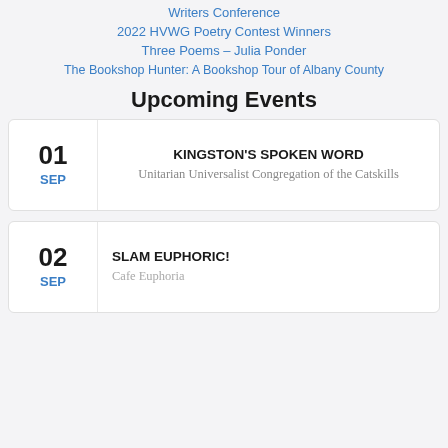Writers Conference
2022 HVWG Poetry Contest Winners
Three Poems – Julia Ponder
The Bookshop Hunter: A Bookshop Tour of Albany County
Upcoming Events
01 SEP — KINGSTON'S SPOKEN WORD — Unitarian Universalist Congregation of the Catskills
02 SEP — SLAM EUPHORIC! — Cafe Euphoria